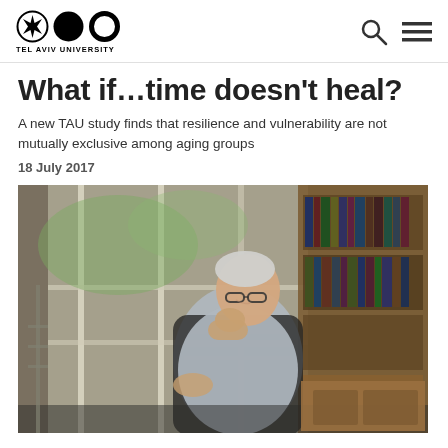TEL AVIV UNIVERSITY
What if…time doesn't heal?
A new TAU study finds that resilience and vulnerability are not mutually exclusive among aging groups
18 July 2017
[Figure (photo): An elderly man with glasses sits in a black office chair, resting his chin on his hand and gazing toward a bright window. Behind him is a wooden bookshelf filled with books. The setting appears to be a home study or library.]